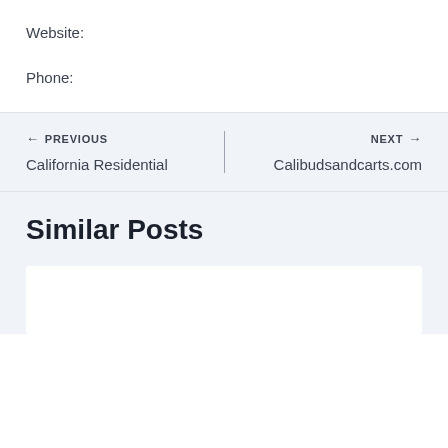Website:
Phone:
← PREVIOUS
California Residential
NEXT →
Calibudsandcarts.com
Similar Posts